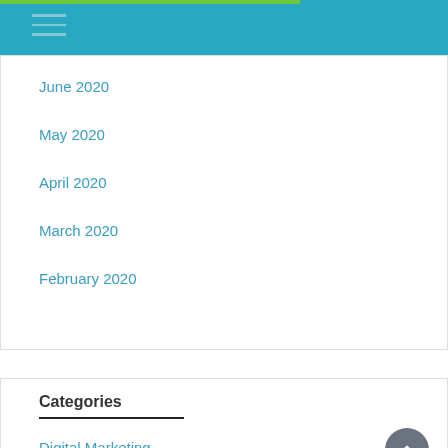Navigation bar with hamburger menu
June 2020
May 2020
April 2020
March 2020
February 2020
Categories
Digital Marketing
Featured